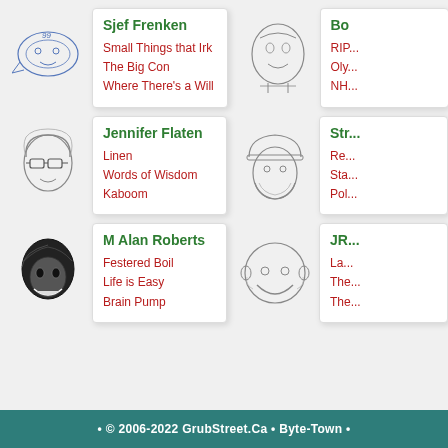[Figure (illustration): Sketch avatar of Sjef Frenken - abstract line drawing face]
Sjef Frenken
Small Things that Irk
The Big Con
Where There's a Will
[Figure (illustration): Sketch avatar of Bo (partially visible) - realistic face sketch]
Bo...
RIP...
Oly...
NH...
[Figure (illustration): Sketch avatar of Jennifer Flaten - woman with glasses]
Jennifer Flaten
Linen
Words of Wisdom
Kaboom
[Figure (illustration): Sketch avatar of Str... - bearded man with hat]
Str...
Re...
Sta...
Pol...
[Figure (illustration): Sketch avatar of M Alan Roberts - dark photo style]
M Alan Roberts
Festered Boil
Life is Easy
Brain Pump
[Figure (illustration): Sketch avatar of JR... - round cheerful face]
JR...
La...
The...
The...
© 2006-2022 GrubStreet.Ca  •  Byte-Town  •